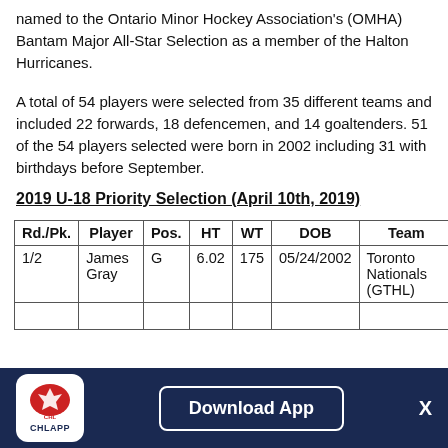named to the Ontario Minor Hockey Association's (OMHA) Bantam Major All-Star Selection as a member of the Halton Hurricanes.
A total of 54 players were selected from 35 different teams and included 22 forwards, 18 defencemen, and 14 goaltenders. 51 of the 54 players selected were born in 2002 including 31 with birthdays before September.
2019 U-18 Priority Selection (April 10th, 2019)
| Rd./Pk. | Player | Pos. | HT | WT | DOB | Team |
| --- | --- | --- | --- | --- | --- | --- |
| 1/2 | James Gray | G | 6.02 | 175 | 05/24/2002 | Toronto Nationals (GTHL) |
Download App